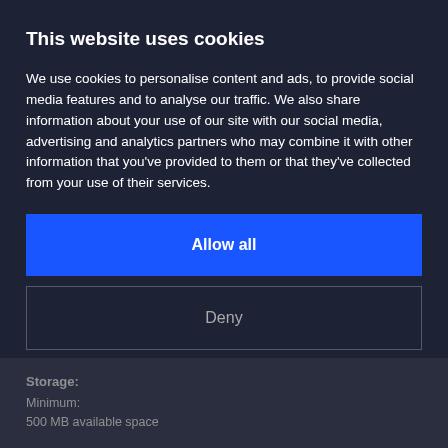This website uses cookies
We use cookies to personalise content and ads, to provide social media features and to analyse our traffic. We also share information about your use of our site with our social media, advertising and analytics partners who may combine it with other information that you've provided to them or that they've collected from your use of their services.
Allow all
Deny
Show details
Storage:
Minimum:
500 MB available space